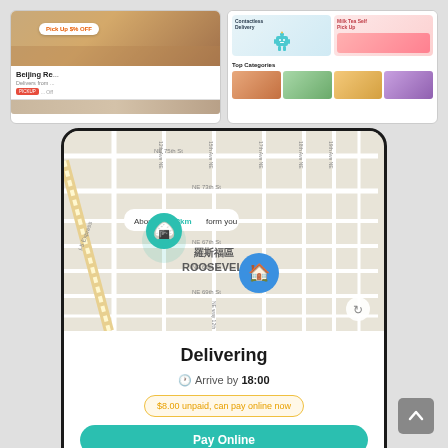[Figure (screenshot): Top-left mobile app screenshot showing a restaurant listing for 'Beijing Re...' with 'Pick Up $% OFF' discount bubble and delivery info]
[Figure (screenshot): Top-right mobile app screenshot showing 'Top Categories' section with food delivery app categories grid]
[Figure (screenshot): Main centered phone screenshot showing a map view with 'About 1.8km form you' callout, food delivery pin (sushi icon) and home pin on Roosevelt area map, followed by 'Delivering' info panel with 'Arrive by 18:00' and '$8.00 unpaid, can pay online now' notice and Pay Online button]
Delivering
Arrive by 18:00
$8.00 unpaid, can pay online now